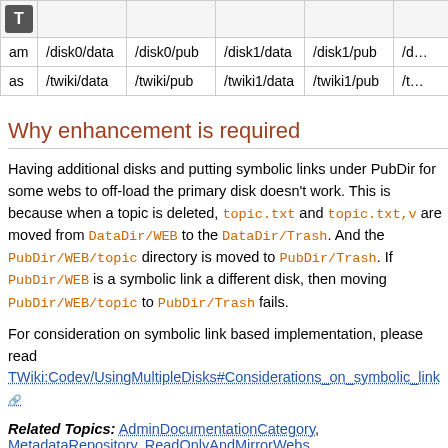|  |  |  |  |  | /d... |
| --- | --- | --- | --- | --- | --- |
| am | /disk0/data | /disk0/pub | /disk1/data | /disk1/pub | /d... |
| as | /twiki/data | /twiki/pub | /twiki1/data | /twiki1/pub | /t... |
Why enhancement is required
Having additional disks and putting symbolic links under PubDir for some webs to off-load the primary disk doesn't work. This is because when a topic is deleted, topic.txt and topic.txt,v are moved from DataDir/WEB to the DataDir/Trash. And the PubDir/WEB/topic directory is moved to PubDir/Trash. If PubDir/WEB is a symbolic link a different disk, then moving PubDir/WEB/topic to PubDir/Trash fails.
For consideration on symbolic link based implementation, please read TWiki:Codev/UsingMultipleDisks#Considerations_on_symbolic_link
Related Topics: AdminDocumentationCategory, MetadataRepository, ReadOnlyAndMirrorWebs